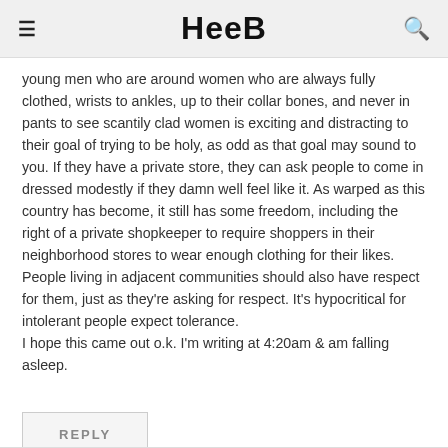Heeb
young men who are around women who are always fully clothed, wrists to ankles, up to their collar bones, and never in pants to see scantily clad women is exciting and distracting to their goal of trying to be holy, as odd as that goal may sound to you. If they have a private store, they can ask people to come in dressed modestly if they damn well feel like it. As warped as this country has become, it still has some freedom, including the right of a private shopkeeper to require shoppers in their neighborhood stores to wear enough clothing for their likes. People living in adjacent communities should also have respect for them, just as they're asking for respect. It's hypocritical for intolerant people expect tolerance.
I hope this came out o.k. I'm writing at 4:20am & am falling asleep.
REPLY